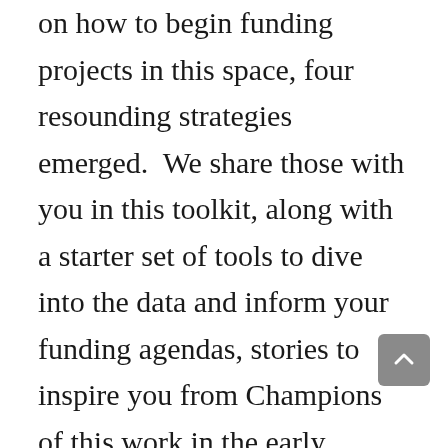on how to begin funding projects in this space, four resounding strategies emerged.  We share those with you in this toolkit, along with a starter set of tools to dive into the data and inform your funding agendas, stories to inspire you from Champions of this work in the early childhood funder community, and ECFC's next steps to advance this work.  This digital companion is designed to help navigate easily to toolkit sections. Read or download the full toolkit, or visit toolkit